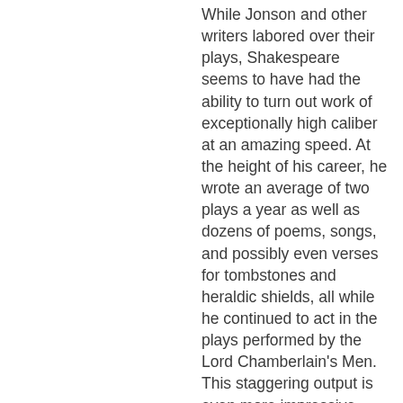While Jonson and other writers labored over their plays, Shakespeare seems to have had the ability to turn out work of exceptionally high caliber at an amazing speed. At the height of his career, he wrote an average of two plays a year as well as dozens of poems, songs, and possibly even verses for tombstones and heraldic shields, all while he continued to act in the plays performed by the Lord Chamberlain's Men. This staggering output is even more impressive when one considers its variety. Except for the English history plays, he never wrote the same kind of